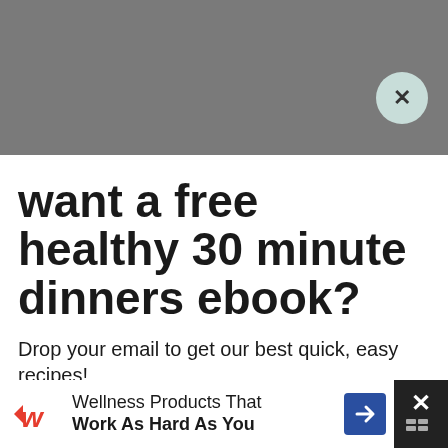want a free healthy 30 minute dinners ebook?
Drop your email to get our best quick, easy recipes!
Type your email here
SEND ME THE RECIPES!
You can find substitutions for all of these
Wellness Products That Work As Hard As You